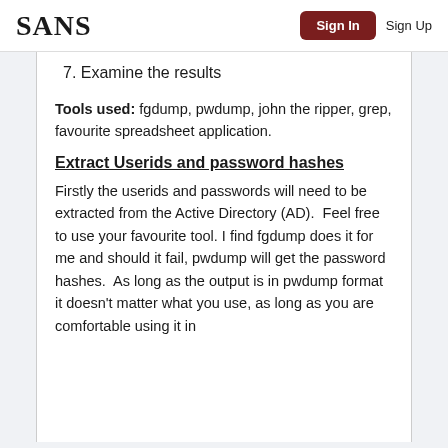SANS | Sign In | Sign Up
7. Examine the results
Tools used: fgdump, pwdump, john the ripper, grep, favourite spreadsheet application.
Extract Userids and password hashes
Firstly the userids and passwords will need to be extracted from the Active Directory (AD).  Feel free to use your favourite tool. I find fgdump does it for me and should it fail, pwdump will get the password hashes.  As long as the output is in pwdump format it doesn't matter what you use, as long as you are comfortable using it in